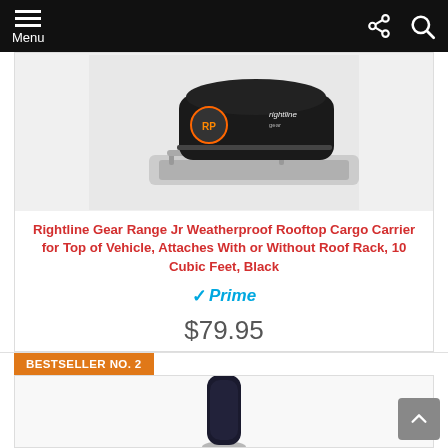Menu
[Figure (photo): Black Rightline Gear rooftop cargo carrier bag strapped on top of a white vehicle with roof rails]
Rightline Gear Range Jr Weatherproof Rooftop Cargo Carrier for Top of Vehicle, Attaches With or Without Roof Rack, 10 Cubic Feet, Black
Prime
$79.95
Buy on Amazon
BESTSELLER NO. 2
[Figure (photo): Partial view of a dark-colored product (next bestseller item) — mostly cut off at bottom of page]